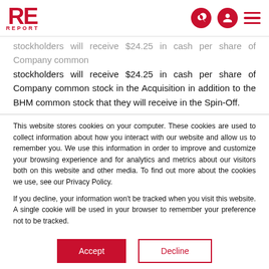RE REPORT [logo with search, user, menu icons]
stockholders will receive $24.25 in cash per share of Company common stock in the Acquisition in addition to the BHM common stock that they will receive in the Spin-Off.
This website stores cookies on your computer. These cookies are used to collect information about how you interact with our website and allow us to remember you. We use this information in order to improve and customize your browsing experience and for analytics and metrics about our visitors both on this website and other media. To find out more about the cookies we use, see our Privacy Policy.
If you decline, your information won't be tracked when you visit this website. A single cookie will be used in your browser to remember your preference not to be tracked.